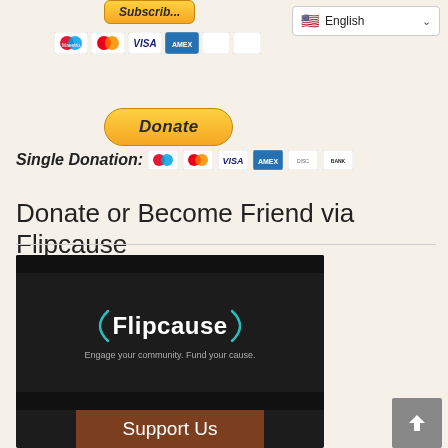[Figure (screenshot): Subscribe PayPal button partially visible at top, payment card icons row (Maestro, Mastercard, Visa, Amex, Discover, Bank), and English language selector dropdown in top right]
[Figure (screenshot): PayPal Donate button (yellow rounded)]
Single Donation: [payment card icons]
Donate or Become Friend via Flipcause
[Figure (logo): Flipcause logo on dark background with tagline 'Engage your community. Fund your cause.' and Support Us brown bar at bottom]
[Figure (screenshot): Grey scroll-to-top button with upward arrow in bottom right]